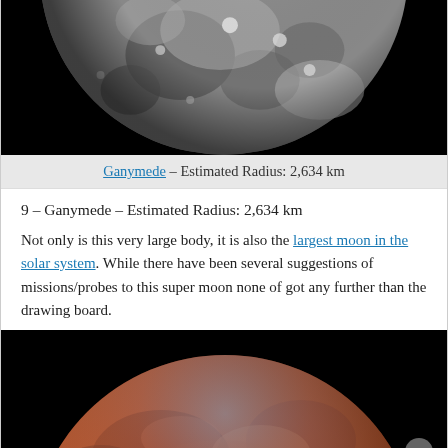[Figure (photo): Close-up photograph of Ganymede moon surface showing cratered icy terrain against black space background, partial view from upper portion]
Ganymede – Estimated Radius: 2,634 km
9 – Ganymede – Estimated Radius: 2,634 km
Not only is this very large body, it is also the largest moon in the solar system. While there have been several suggestions of missions/probes to this super moon none of got any further than the drawing board.
[Figure (photo): Photograph of Mars showing the planet's reddish-brown surface with atmospheric haze visible along the limb, against black space background]